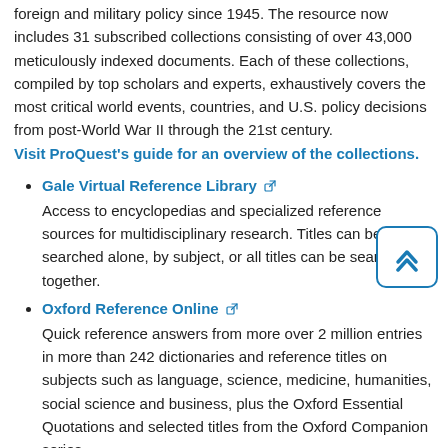foreign and military policy since 1945. The resource now includes 31 subscribed collections consisting of over 43,000 meticulously indexed documents. Each of these collections, compiled by top scholars and experts, exhaustively covers the most critical world events, countries, and U.S. policy decisions from post-World War II through the 21st century. Visit ProQuest's guide for an overview of the collections.
Gale Virtual Reference Library
Access to encyclopedias and specialized reference sources for multidisciplinary research. Titles can be searched alone, by subject, or all titles can be searched together.
Oxford Reference Online
Quick reference answers from more over 2 million entries in more than 242 dictionaries and reference titles on subjects such as language, science, medicine, humanities, social science and business, plus the Oxford Essential Quotations and selected titles from the Oxford Companion series.